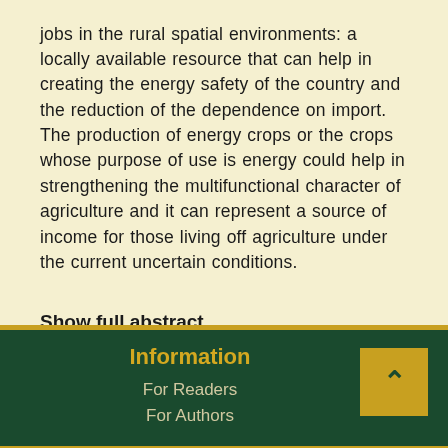jobs in the rural spatial environments: a locally available resource that can help in creating the energy safety of the country and the reduction of the dependence on import. The production of energy crops or the crops whose purpose of use is energy could help in strengthening the multifunctional character of agriculture and it can represent a source of income for those living off agriculture under the current uncertain conditions.
Show full abstract
37  77
1 – 3 of 3 items
Information
For Readers
For Authors